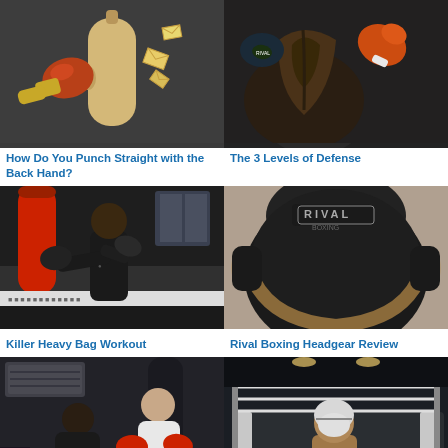[Figure (photo): Illustration of a boxing glove punching a sandbag with envelopes flying out, dark background]
How Do You Punch Straight with the Back Hand?
[Figure (photo): Photo of two boxers in a close-up fight, one with orange gloves]
The 3 Levels of Defense
[Figure (photo): Photo of a boxer in a gym hitting a heavy red punching bag]
Killer Heavy Bag Workout
[Figure (photo): Close-up photo of a black Rival boxing headgear]
Rival Boxing Headgear Review
[Figure (photo): Photo of two boxers sparring in a gym, one bent over with red gloves]
Breathing Sounds While Punching
[Figure (photo): Photo of a boxer in a boxing ring at night with headgear]
The Art of Body Punching